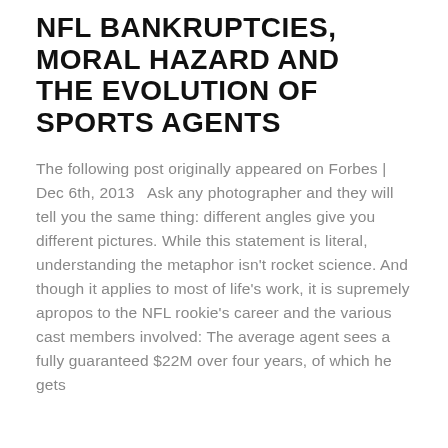NFL BANKRUPTCIES, MORAL HAZARD AND THE EVOLUTION OF SPORTS AGENTS
The following post originally appeared on Forbes | Dec 6th, 2013   Ask any photographer and they will tell you the same thing: different angles give you different pictures. While this statement is literal, understanding the metaphor isn't rocket science. And though it applies to most of life's work, it is supremely apropos to the NFL rookie's career and the various cast members involved: The average agent sees a fully guaranteed $22M over four years, of which he gets